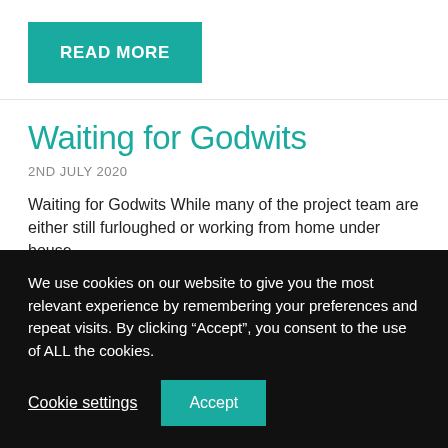READ MORE
Waiting for Godwits
2ND JULY 2020
Waiting for Godwits While many of the project team are either still furloughed or working from home under house
We use cookies on our website to give you the most relevant experience by remembering your preferences and repeat visits. By clicking “Accept”, you consent to the use of ALL the cookies.
Cookie settings
Accept